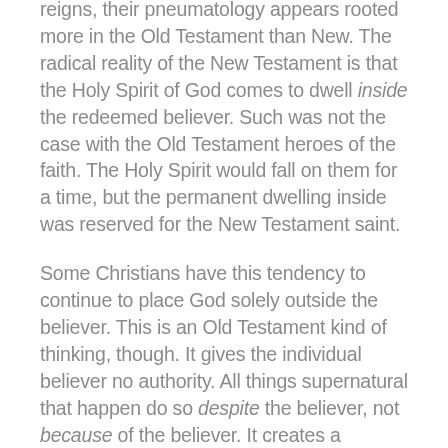reigns, their pneumatology appears rooted more in the Old Testament than New. The radical reality of the New Testament is that the Holy Spirit of God comes to dwell inside the redeemed believer. Such was not the case with the Old Testament heroes of the faith. The Holy Spirit would fall on them for a time, but the permanent dwelling inside was reserved for the New Testament saint.
Some Christians have this tendency to continue to place God solely outside the believer. This is an Old Testament kind of thinking, though. It gives the individual believer no authority. All things supernatural that happen do so despite the believer, not because of the believer. It creates a worldview where the Church does not matter because God can do it all Himself.